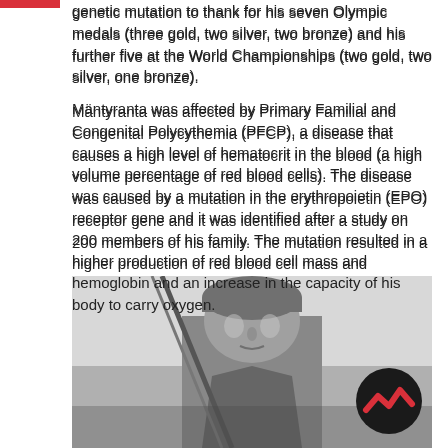genetic mutation to thank for his seven Olympic medals (three gold, two silver, two bronze) and his further five at the World Championships (two gold, two silver, one bronze).
Mäntyranta was affected by Primary Familial and Congenital Polycythemia (PFCP), a disease that causes a high level of hematocrit in the blood (a high volume percentage of red blood cells). The disease was caused by a mutation in the erythropoietin (EPO) receptor gene and it was identified after a study on 200 members of his family. The mutation resulted in a higher production of red blood cell mass and hemoglobin and an increase in the capacity of his body to carry oxygen.
[Figure (photo): Black and white photograph of Mäntyranta, a male athlete wearing a headband/cap, shown from the chest up, with ski poles visible in the background.]